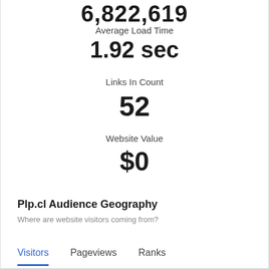6,822,619
Average Load Time
1.92 sec
Links In Count
52
Website Value
$0
Plp.cl Audience Geography
Where are website visitors coming from?
Visitors	Pageviews	Ranks